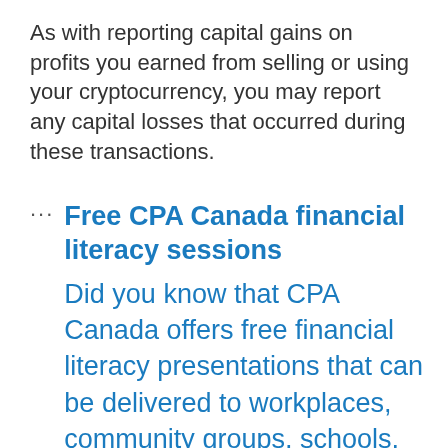As with reporting capital gains on profits you earned from selling or using your cryptocurrency, you may report any capital losses that occurred during these transactions.
Free CPA Canada financial literacy sessions Did you know that CPA Canada offers free financial literacy presentations that can be delivered to workplaces, community groups, schools, and more? These